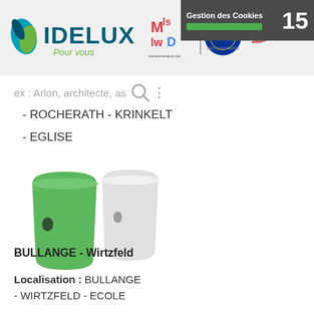[Figure (logo): IDELUX Pour vous logo with teal and green leaf icon, and partner logos including enmieux.be, EU flag, and Wallonie]
Gestion des Cookies  15
ex : Arlon, architecte, as
- ROCHERATH - KRINKELT
- EGLISE
[Figure (illustration): Two recycling glass container icons — one green, one grey/white]
BULLANGE - Wirtzfeld
Localisation : BULLANGE - WIRTZFELD - ECOLE